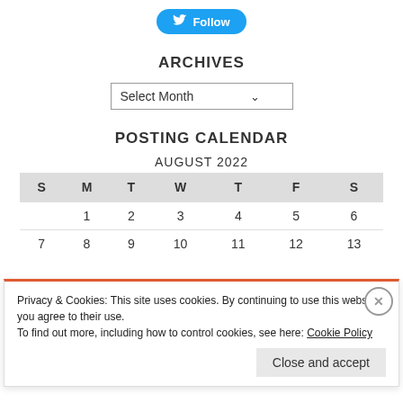[Figure (other): Twitter Follow button with bird icon]
ARCHIVES
[Figure (other): Select Month dropdown control]
POSTING CALENDAR
AUGUST 2022
| S | M | T | W | T | F | S |
| --- | --- | --- | --- | --- | --- | --- |
|  | 1 | 2 | 3 | 4 | 5 | 6 |
| 7 | 8 | 9 | 10 | 11 | 12 | 13 |
Privacy & Cookies: This site uses cookies. By continuing to use this website, you agree to their use. To find out more, including how to control cookies, see here: Cookie Policy
Close and accept